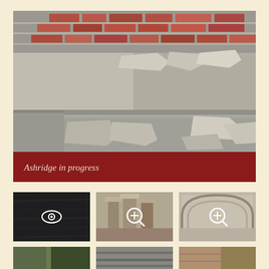[Figure (photo): Large photograph of damaged/deteriorating brick and stone wall work showing construction or renovation in progress at Ashridge. The wall shows exposed brick, rubble, broken stone pieces, and cement work.]
Ashridge in progress
[Figure (photo): Dark thumbnail photo with eye/view icon overlay, showing dark architectural detail]
[Figure (photo): Thumbnail photo with zoom/magnify icon overlay, showing construction detail with stone columns or capitals]
[Figure (photo): Thumbnail photo with zoom/magnify icon overlay, showing stone arch or architectural detail]
[Figure (photo): Bottom row thumbnail showing green/outdoor scene]
[Figure (photo): Bottom row thumbnail showing grey architectural detail]
[Figure (photo): Bottom row thumbnail showing warm-toned detail]